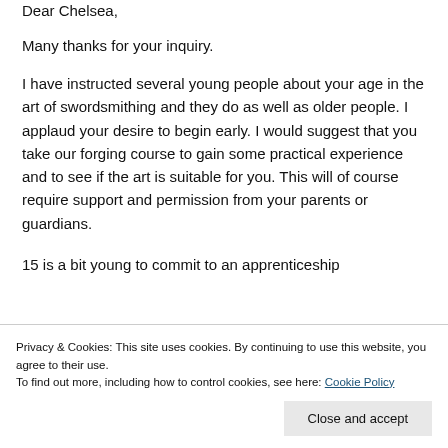Dear Chelsea,
Many thanks for your inquiry.
I have instructed several young people about your age in the art of swordsmithing and they do as well as older people. I applaud your desire to begin early. I would suggest that you take our forging course to gain some practical experience and to see if the art is suitable for you. This will of course require support and permission from your parents or guardians.
15 is a bit young to commit to an apprenticeship
Privacy & Cookies: This site uses cookies. By continuing to use this website, you agree to their use.
To find out more, including how to control cookies, see here: Cookie Policy
Close and accept